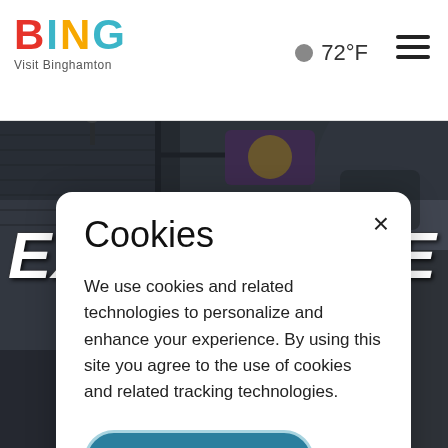BING Visit Binghamton | 72°F
[Figure (photo): Dark background showing an old Victorian-style building with a hanging sign, shot in muted gray-blue tones]
EXPERIENCE
Cookies
We use cookies and related technologies to personalize and enhance your experience. By using this site you agree to the use of cookies and related tracking technologies.
Privacy Policy